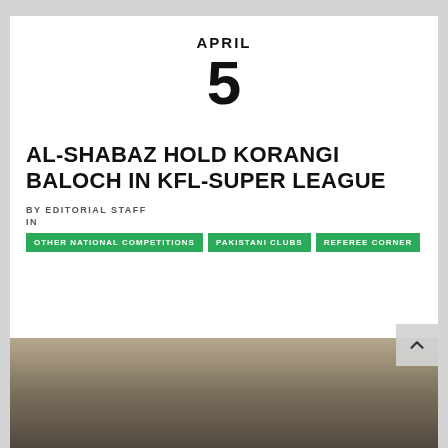APRIL
5
AL-SHABAZ HOLD KORANGI BALOCH IN KFL-SUPER LEAGUE
BY EDITORIAL STAFF
IN
OTHER NATIONAL COMPETITIONS
PAKISTANI CLUBS
REFEREE CORNER
[Figure (photo): Group photo of football players or staff outdoors near a building]